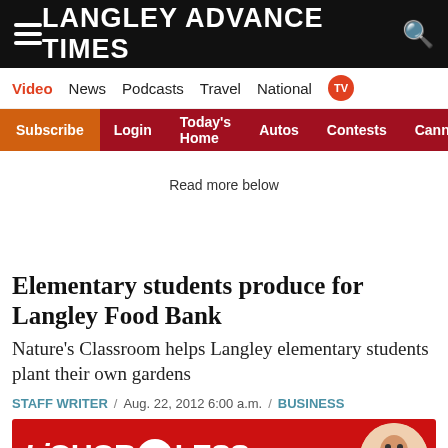LANGLEY ADVANCE TIMES
Video News Podcasts Travel National TV
Subscribe Login Today's Home Autos Contests Cannabis
Read more below
Elementary students produce for Langley Food Bank
Nature's Classroom helps Langley elementary students plant their own gardens
STAFF WRITER / Aug. 22, 2012 6:00 a.m. / BUSINESS
[Figure (other): LiquorForLess.com advertisement banner with red background, logo text and mascot illustration]